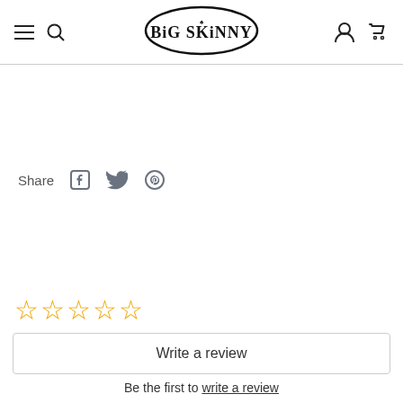Big Skinny
Share
☆☆☆☆☆
Write a review
Be the first to write a review